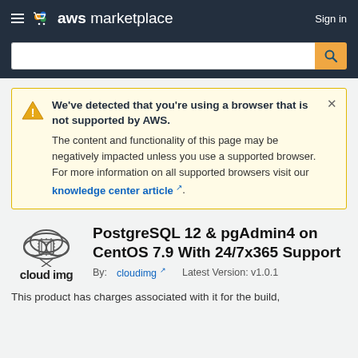aws marketplace  Sign in
We've detected that you're using a browser that is not supported by AWS. The content and functionality of this page may be negatively impacted unless you use a supported browser. For more information on all supported browsers visit our knowledge center article.
PostgreSQL 12 & pgAdmin4 on CentOS 7.9 With 24/7x365 Support
By: cloudimg  Latest Version: v1.0.1
This product has charges associated with it for the build,